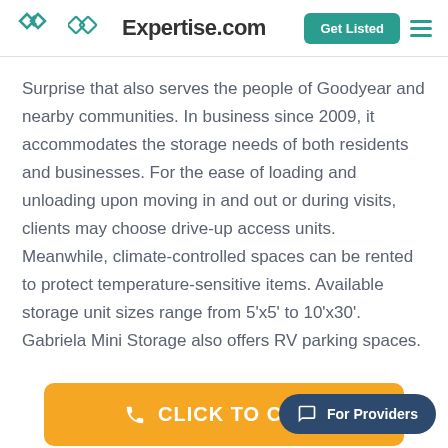Expertise.com | Get Listed | Menu
Surprise that also serves the people of Goodyear and nearby communities. In business since 2009, it accommodates the storage needs of both residents and businesses. For the ease of loading and unloading upon moving in and out or during visits, clients may choose drive-up access units. Meanwhile, climate-controlled spaces can be rented to protect temperature-sensitive items. Available storage unit sizes range from 5'x5' to 10'x30'. Gabriela Mini Storage also offers RV parking spaces.
[Figure (other): Orange button with phone icon and text CLICK TO CALL]
[Figure (other): Dark teal pill-shaped button with chat icon and text For Providers]